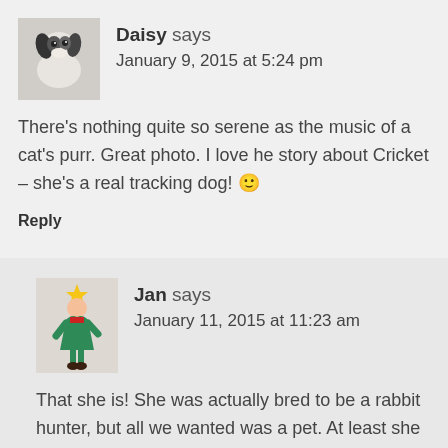[Figure (photo): Avatar of a black and white dog (Daisy)]
Daisy says
January 9, 2015 at 5:24 pm
There's nothing quite so serene as the music of a cat's purr. Great photo. I love he story about Cricket – she's a real tracking dog! 🙂
Reply
[Figure (illustration): Avatar of a person in a green dress with a star on head (Jan)]
Jan says
January 11, 2015 at 11:23 am
That she is! She was actually bred to be a rabbit hunter, but all we wanted was a pet. At least she gets to use her nose tracking down the ball, which she just loves